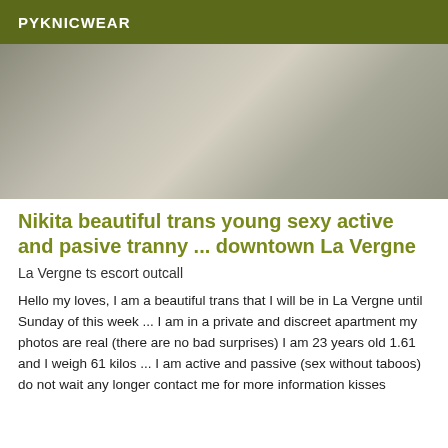PYKNICWEAR
[Figure (photo): Photo showing a person seated on a chair, partial view of lower body wearing patterned pants, in a tiled room setting]
Nikita beautiful trans young sexy active and pasive tranny ... downtown La Vergne
La Vergne ts escort outcall
Hello my loves, I am a beautiful trans that I will be in La Vergne until Sunday of this week ... I am in a private and discreet apartment my photos are real (there are no bad surprises) I am 23 years old 1.61 and I weigh 61 kilos ... I am active and passive (sex without taboos) do not wait any longer contact me for more information kisses